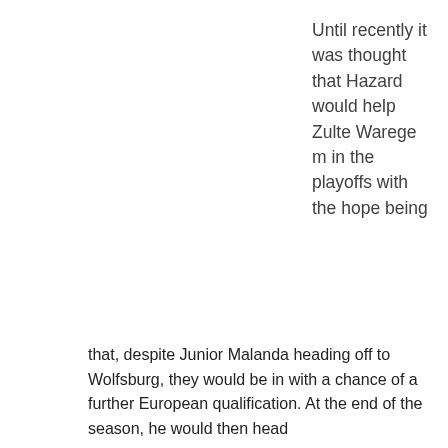Until recently it was thought that Hazard would help Zulte Waregem in the playoffs with the hope being
Zulte Waregem's Thorgan Hazard – waiting his opportunity
that, despite Junior Malanda heading off to Wolfsburg, they would be in with a chance of a further European qualification. At the end of the season, he would then head